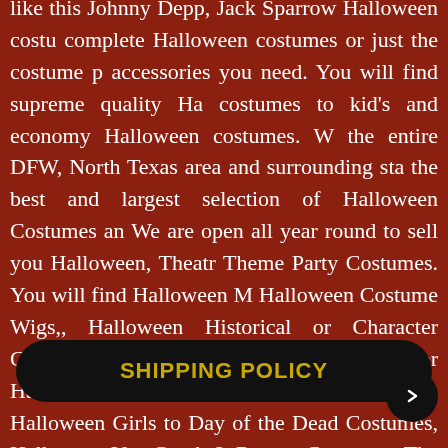like this Johnny Depp, Jack Sparrow Halloween costu... complete Halloween costumes or just the costume p... accessories you need. You will find supreme quality Ha... costumes to kid's and economy Halloween costumes. W... the entire DFW, North Texas area and surrounding sta... the best and largest selection of Halloween Costumes an... We are open all year round to sell you Halloween, Theatr... Theme Party Costumes. You will find Halloween M... Halloween Costume Wigs,, Halloween Historical or... Character Costumes, Halloween Super Heroes or ... Halloween Zombies and Victorian Costumes, Halloween... Girls to Day of the Dead Costumes, Halloween Voo... Greek & Roman Costumes. The thousands of Ha... costumes on this website is like a millionth of percen... Halloween costumes we can help you create. Everyth... need is here, all in one pla... Makeup, Wigs, Prostheti... Fantasy, Cosplay & Anime,
[Figure (other): Black pill-shaped button overlay with yellow text reading 'SHIPPING POLICY' and a circular arrow button to the right]